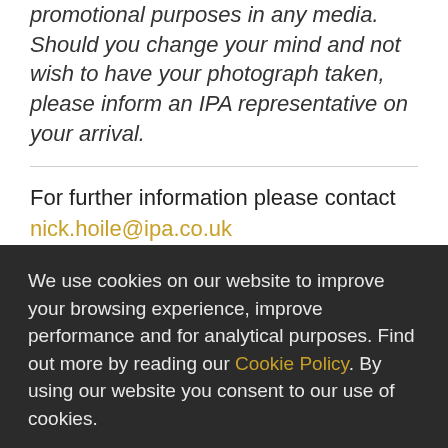promotional purposes in any media. Should you change your mind and not wish to have your photograph taken, please inform an IPA representative on your arrival.
For further information please contact nick.hoile@ipa.co.uk
We use cookies on our website to improve your browsing experience, improve performance and for analytical purposes. Find out more by reading our Cookie Policy. By using our website you consent to our use of cookies.
I Accept